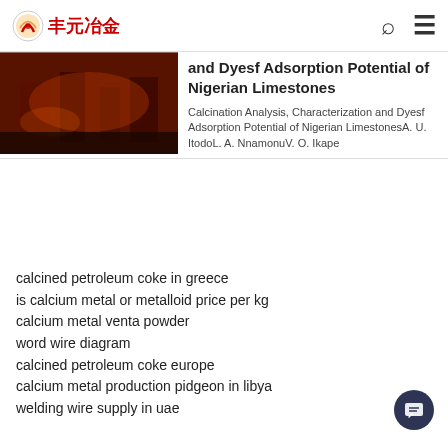丰元冶金
[Figure (photo): Partial image of industrial/metallurgical scene with orange/red tones]
and Dyesf Adsorption Potential of Nigerian Limestones
Calcination Analysis, Characterization and Dyesf Adsorption Potential of Nigerian LimestonesA. U. ItodoL. A. NnamonuV. O. Ikape
calcined petroleum coke in greece
is calcium metal or metalloid price per kg
calcium metal venta powder
word wire diagram
calcined petroleum coke europe
calcium metal production pidgeon in libya
welding wire supply in uae